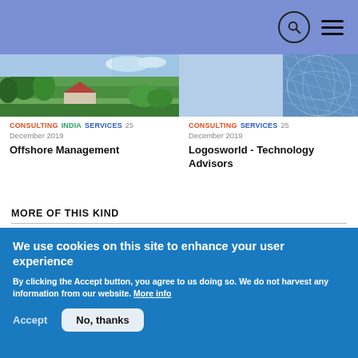[Figure (screenshot): Website navigation bar with blue/purple background, search icon (circle with magnifying glass), and hamburger menu icon]
[Figure (photo): Green countryside landscape with trees and farmhouse]
CONSULTING INDIA SERVICES 25
December 2019
Offshore Management
[Figure (photo): Blue digital/technology abstract pattern with grid mesh]
CONSULTING SERVICES 25
December 2019
Logosworld - Technology Advisors
MORE OF THIS KIND
We use cookies on this site to enhance your user experience
By clicking the Accept button, you agree to us doing so. We do not harvest any information from our website. More info
Accept
No, thanks